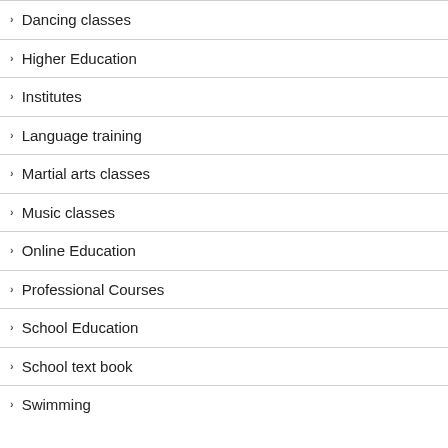Dancing classes
Higher Education
Institutes
Language training
Martial arts classes
Music classes
Online Education
Professional Courses
School Education
School text book
Swimming